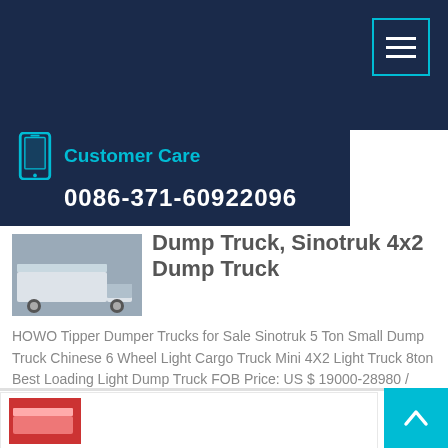Customer Care
0086-371-60922096
Dump Truck, Sinotruk 4x2 Dump Truck
HOWO Tipper Dumper Trucks for Sale Sinotruk 5 Ton Small Dump Truck Chinese 6 Wheel Light Cargo Truck Mini 4X2 Light Truck 8ton Best Loading Light Dump Truck FOB Price: US $ 19000-28980 / Piece Min. Order: 1 Piece
Learn More